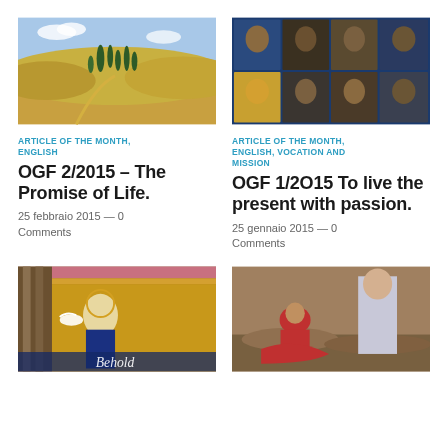[Figure (photo): Tuscan countryside with cypress trees on rolling golden hills]
[Figure (photo): Collage of religious icons and paintings of saints]
ARTICLE OF THE MONTH, ENGLISH
OGF 2/2015 – The Promise of Life.
25 febbraio 2015 — 0 Comments
ARTICLE OF THE MONTH, ENGLISH, VOCATION AND MISSION
OGF 1/2O15 To live the present with passion.
25 gennaio 2015 — 0 Comments
[Figure (photo): Medieval religious painting of an angel, Annunciation scene with text 'Behold']
[Figure (photo): Medieval religious painting showing a figure kneeling before a robed figure]